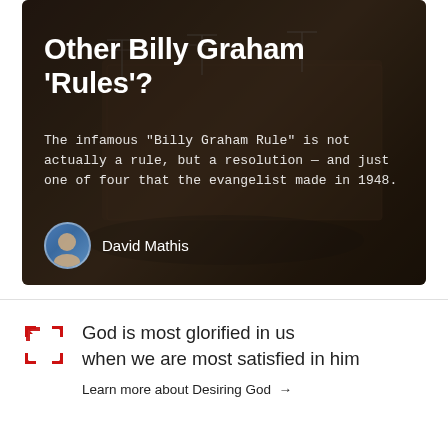[Figure (photo): Overhead view of a dark wooden table with metal chairs, dimly lit, used as background image for article card about Billy Graham Rules]
Other Billy Graham 'Rules'?
The infamous “Billy Graham Rule” is not actually a rule, but a resolution — and just one of four that the evangelist made in 1948.
David Mathis
God is most glorified in us when we are most satisfied in him
Learn more about Desiring God →